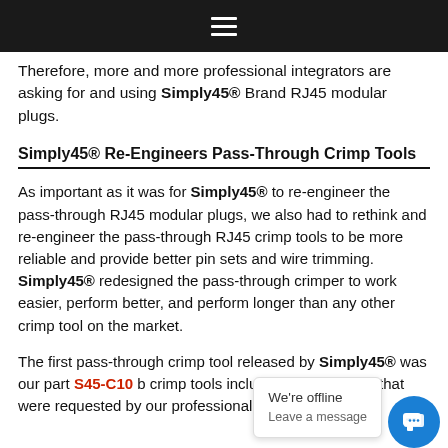≡ (navigation hamburger menu)
Therefore, more and more professional integrators are asking for and using Simply45® Brand RJ45 modular plugs.
Simply45® Re-Engineers Pass-Through Crimp Tools
As important as it was for Simply45® to re-engineer the pass-through RJ45 modular plugs, we also had to rethink and re-engineer the pass-through RJ45 crimp tools to be more reliable and provide better pin sets and wire trimming. Simply45® redesigned the pass-through crimper to work easier, perform better, and perform longer than any other crimp tool on the market.
The first pass-through crimp tool released by Simply45® was our part S45-C10... crimp tools include th... ore features that were requested by our professional installer